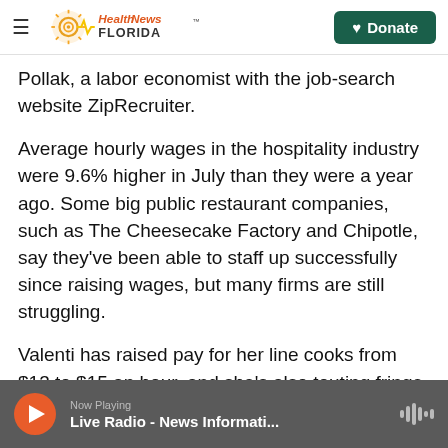Health News Florida | Donate
Pollak, a labor economist with the job-search website ZipRecruiter.
Average hourly wages in the hospitality industry were 9.6% higher in July than they were a year ago. Some big public restaurant companies, such as The Cheesecake Factory and Chipotle, say they've been able to staff up successfully since raising wages, but many firms are still struggling.
Valenti has raised pay for her line cooks from $13 to $15 an hour, and she's also touting fringe benefits not usually associated with restaurants.
Now Playing | Live Radio - News Informati...